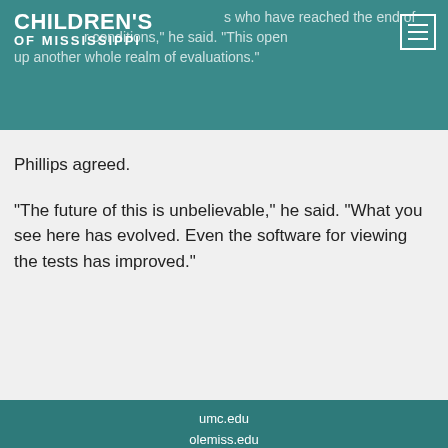Children's of Mississippi
"The future of this is unbelievable," he said. "What you see here has evolved. Even the software for viewing the tests has improved."
Phillips agreed.
umc.edu
olemiss.edu
TJC Accreditation
Privacy Policy
Facebook
Twitter